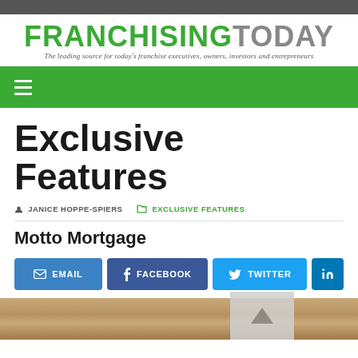FRANCHISING TODAY — The leading source for today's franchise executives, owners, investors and entrepreneurs
Exclusive Features
JANICE HOPPE-SPIERS   EXCLUSIVE FEATURES
Motto Mortgage
[Figure (screenshot): Social share buttons: EMAIL, FACEBOOK, TWITTER, LINKEDIN]
[Figure (photo): Bottom image strip showing a wood-toned surface, partial view]